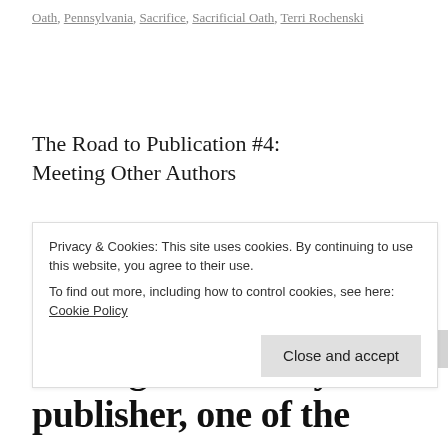Oath, Pennsylvania, Sacrifice, Sacrificial Oath, Terri Rochenski
The Road to Publication #4: Meeting Other Authors
Posted on June 4, 2012 | 18 comments
When the gads of information started coming in from my publisher, one of the
Privacy & Cookies: This site uses cookies. By continuing to use this website, you agree to their use.
To find out more, including how to control cookies, see here: Cookie Policy
Close and accept